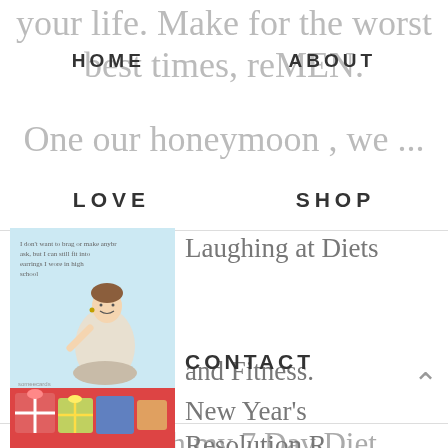your life. Make for the worst
HOME   ABOUT
best times, reMEN.
One our honeymoon , we ...
LOVE   SHOP
[Figure (illustration): Vintage-style ecard illustration showing a woman in 1950s style with humorous text about fitting into high school earrings]
Laughing at Diets and Fitness.
CONTACT
I thought with my 7 Day Diet, what better than bringing in a little humor from none other than SomeEcards? Dare you not to crack up. My Tue...
[Figure (photo): Colorful wrapped gift boxes and presents, partially visible]
New Year's Resolution R...